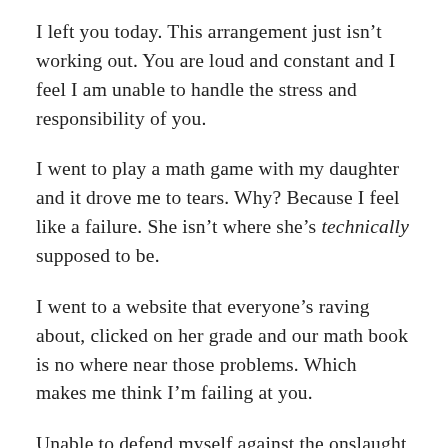I left you today. This arrangement just isn't working out. You are loud and constant and I feel I am unable to handle the stress and responsibility of you.
I went to play a math game with my daughter and it drove me to tears. Why? Because I feel like a failure. She isn't where she's technically supposed to be.
I went to a website that everyone's raving about, clicked on her grade and our math book is no where near those problems. Which makes me think I'm failing at you.
Unable to defend myself against the onslaught of despair I fled to my bedroom and cried into an innocent shirt draped over the cushion of